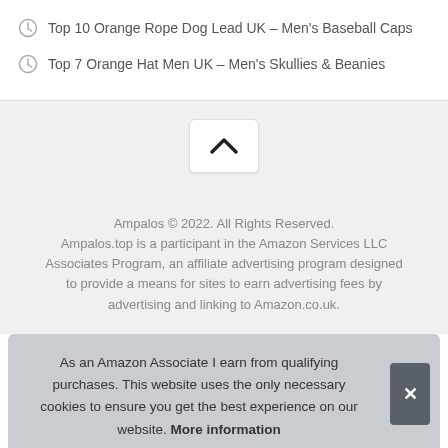Top 10 Orange Rope Dog Lead UK – Men's Baseball Caps
Top 7 Orange Hat Men UK – Men's Skullies & Beanies
[Figure (other): Scroll-to-top button with upward chevron arrow on a light grey background]
Ampalos © 2022. All Rights Reserved. Ampalos.top is a participant in the Amazon Services LLC Associates Program, an affiliate advertising program designed to provide a means for sites to earn advertising fees by advertising and linking to Amazon.co.uk.
As an Amazon Associate I earn from qualifying purchases. This website uses the only necessary cookies to ensure you get the best experience on our website. More information